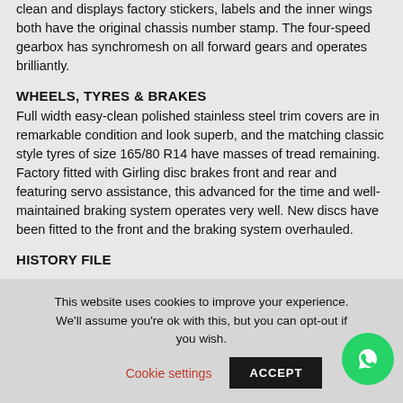clean and displays factory stickers, labels and the inner wings both have the original chassis number stamp. The four-speed gearbox has synchromesh on all forward gears and operates brilliantly.
WHEELS, TYRES & BRAKES
Full width easy-clean polished stainless steel trim covers are in remarkable condition and look superb, and the matching classic style tyres of size 165/80 R14 have masses of tread remaining. Factory fitted with Girling disc brakes front and rear and featuring servo assistance, this advanced for the time and well-maintained braking system operates very well. New discs have been fitted to the front and the braking system overhauled.
HISTORY FILE
This website uses cookies to improve your experience. We'll assume you're ok with this, but you can opt-out if you wish. Cookie settings ACCEPT